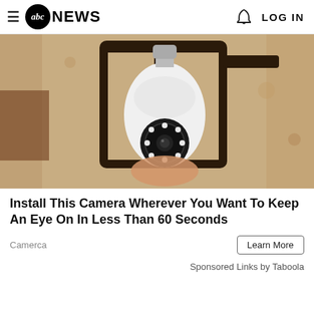abc NEWS  LOG IN
[Figure (photo): A security camera shaped like a light bulb installed inside a black metal outdoor lantern fixture mounted on a textured stucco wall. The camera has a white spherical body with a black circular camera lens unit at the bottom containing LED lights. A hand is visible holding/installing the device.]
Install This Camera Wherever You Want To Keep An Eye On In Less Than 60 Seconds
Camerca
Learn More
Sponsored Links by Taboola